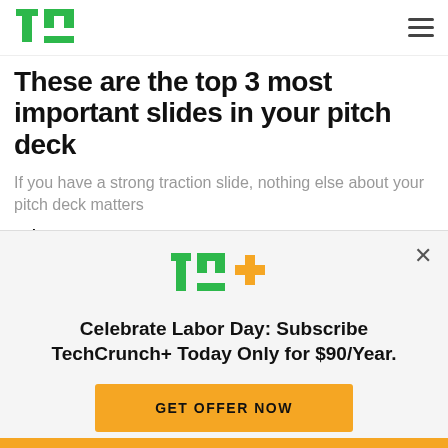TechCrunch
These are the top 3 most important slides in your pitch deck
If you have a strong traction slide, nothing else about your pitch deck matters
Haje Jan Kamps
[Figure (photo): Sky/landscape photo partially visible behind modal]
Celebrate Labor Day: Subscribe TechCrunch+ Today Only for $90/Year.
GET OFFER NOW